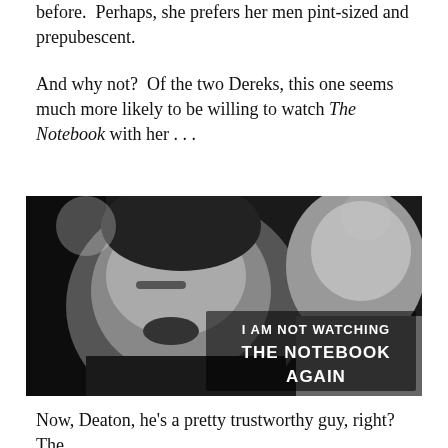before.  Perhaps, she prefers her men pint-sized and prepubescent.
And why not?  Of the two Dereks, this one seems much more likely to be willing to watch The Notebook with her . . .
[Figure (photo): Black and white photo of a young man and woman. Text overlay reads: I AM NOT WATCHING THE NOTEBOOK AGAIN]
Now, Deaton, he's a pretty trustworthy guy, right?  The